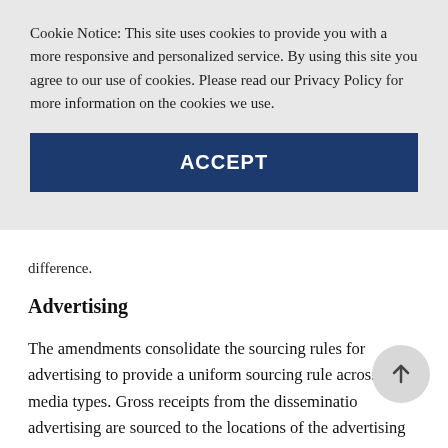Cookie Notice: This site uses cookies to provide you with a more responsive and personalized service. By using this site you agree to our use of cookies. Please read our Privacy Policy for more information on the cookies we use.
ACCEPT
difference.
Advertising
The amendments consolidate the sourcing rules for advertising to provide a uniform sourcing rule across media types. Gross receipts from the dissemination of advertising are sourced to the locations of the advertising audience. The locations of the advertising audience should be determined in good faith using the most reasonable method under the circumstances. The method should be consistently applied from year to year